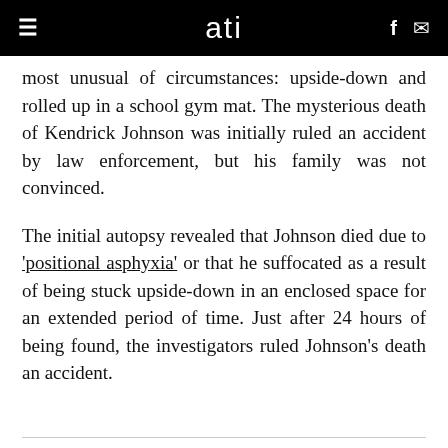ati
most unusual of circumstances: upside-down and rolled up in a school gym mat. The mysterious death of Kendrick Johnson was initially ruled an accident by law enforcement, but his family was not convinced.
The initial autopsy revealed that Johnson died due to 'positional asphyxia' or that he suffocated as a result of being stuck upside-down in an enclosed space for an extended period of time. Just after 24 hours of being found, the investigators ruled Johnson's death an accident.